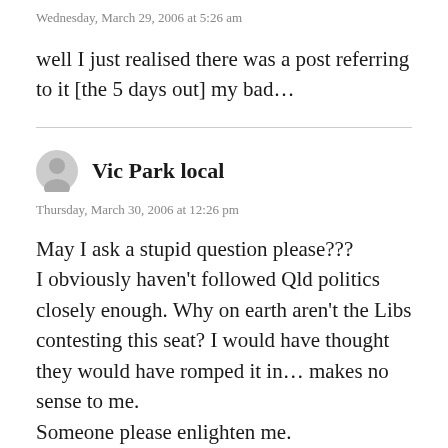Wednesday, March 29, 2006 at 5:26 am
well I just realised there was a post referring to it [the 5 days out] my bad…
Vic Park local
Thursday, March 30, 2006 at 12:26 pm
May I ask a stupid question please??? I obviously haven't followed Qld politics closely enough. Why on earth aren't the Libs contesting this seat? I would have thought they would have romped it in… makes no sense to me.
Someone please enlighten me.